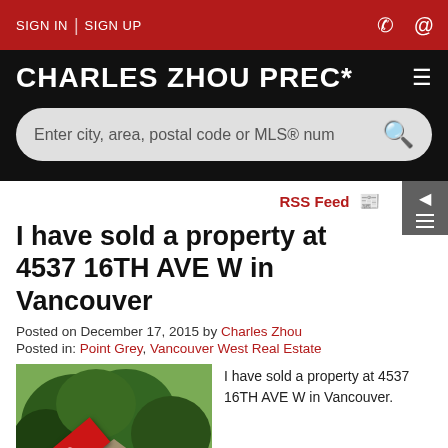SIGN IN | SIGN UP
CHARLES ZHOU PREC*
Enter city, area, postal code or MLS® num
RSS Feed
I have sold a property at 4537 16TH AVE W in Vancouver
Posted on December 17, 2015 by Charles Zhou
Posted in: Point Grey, Vancouver West Real Estate
[Figure (photo): Property photo with SOLD banner overlay showing house with trees]
I have sold a property at 4537 16TH AVE W in Vancouver.